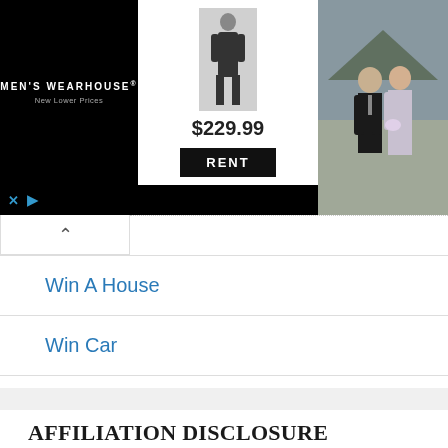[Figure (screenshot): Men's Wearhouse advertisement banner showing a man in a tuxedo, price $229.99, and a RENT button, with a couple in formal wear on the right side. Black background on the left with Men's Wearhouse logo and 'New Lower Prices' tagline.]
Win A House
Win Car
Win Cash
Win Prize
AFFILIATION DISCLOSURE
We may receive compensation from purchases